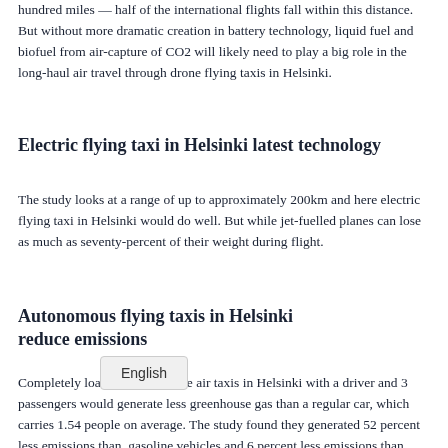hundred miles — half of the international flights fall within this distance. But without more dramatic creation in battery technology, liquid fuel and biofuel from air-capture of CO2 will likely need to play a big role in the long-haul air travel through drone flying taxis in Helsinki.
Electric flying taxi in Helsinki latest technology
The study looks at a range of up to approximately 200km and here electric flying taxi in Helsinki would do well. But while jet-fuelled planes can lose as much as seventy-percent of their weight during flight.
Autonomous flying taxis in Helsinki reduce emissions
Completely loaded VTOL drone air taxis in Helsinki with a driver and 3 passengers would generate less greenhouse gas than a regular car, which carries 1.54 people on average. The study found they generated 52 percent less emissions than, gasoline vehicles and 6 percent less emissions than electric cars.
How much will electric flying taxis in Helsinki cost